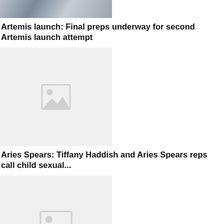[Figure (photo): Top partial photo of people and a rocket/launch structure in the background]
Artemis launch: Final preps underway for second Artemis launch attempt
[Figure (photo): Placeholder image thumbnail with mountain/image icon]
Aries Spears: Tiffany Haddish and Aries Spears reps call child sexual...
[Figure (photo): Placeholder image thumbnail with mountain/image icon]
Biden: Analysis: Biden ramps up against Trump's threat to...